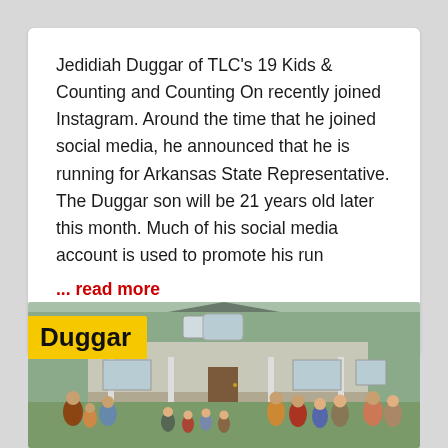Jedidiah Duggar of TLC's 19 Kids & Counting and Counting On recently joined Instagram. Around the time that he joined social media, he announced that he is running for Arkansas State Representative. The Duggar son will be 21 years old later this month. Much of his social media account is used to promote his run
... read more
December 8, 2019
[Figure (photo): Family photo in front of a large house with green roof. A yellow label reading 'Duggar' overlays the top-left corner. A large family group is visible in front of the house.]